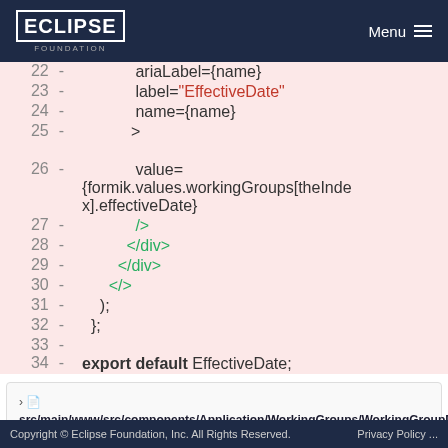Eclipse Foundation | Menu
[Figure (screenshot): Code diff view showing lines 22-34 of a React JSX file with removed lines (pink background). Lines show ariaLabel, label with EffectiveDate string, name, onChange, value props for a form component, closing JSX tags, and export default statement.]
src/main/www/src/components/Application/WorkingGroups/WorkingGroupParticipationLevel.js
Copyright © Eclipse Foundation, Inc. All Rights Reserved.  Privacy Policy ...